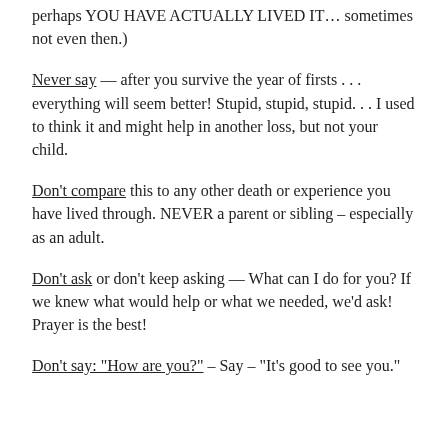perhaps YOU HAVE ACTUALLY LIVED IT… sometimes not even then.)
Never say — after you survive the year of firsts . . . everything will seem better! Stupid, stupid, stupid. . . I used to think it and might help in another loss, but not your child.
Don't compare this to any other death or experience you have lived through. NEVER a parent or sibling – especially as an adult.
Don't ask or don't keep asking — What can I do for you? If we knew what would help or what we needed, we'd ask!  Prayer is the best!
Don't say: "How are you?" – Say – "It's good to see you."